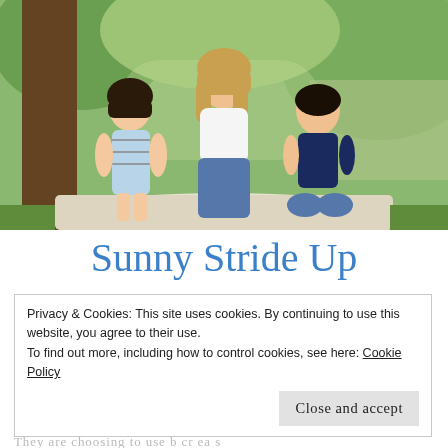[Figure (photo): A woman with two children sitting on a blanket outdoors in a park. The woman is in the center wearing a white top and jeans, with a girl on the left in a striped dress and a boy on the right in a navy polo shirt. Trees and green grass are in the background.]
Sunny Stride Up
Privacy & Cookies: This site uses cookies. By continuing to use this website, you agree to their use.
To find out more, including how to control cookies, see here: Cookie Policy
Close and accept
They are choosing to use b cr ea s